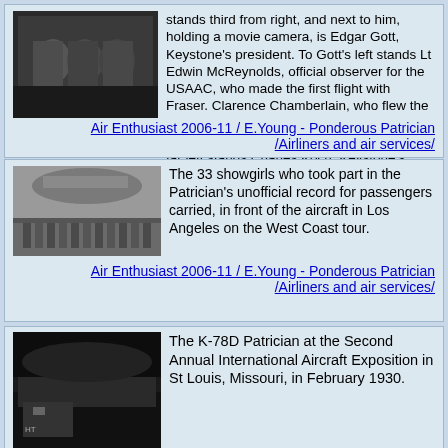[Figure (photo): Black and white photograph of a group of people, partial view showing upper portion]
stands third from right, and next to him, holding a movie camera, is Edgar Gott, Keystone's president. To Gott's left stands Lt Edwin McReynolds, official observer for the USAAC, who made the first flight with Fraser. Clarence Chamberlain, who flew the Atlantic after Lindbergh, stands next to Fraser, wearing a white flying helmet. On the far left stands Charles Koch, Keystone's Project Engineer, who managed the design and construction of the Patrician.
Air Enthusiast 2006-11 / E.Young - Ponderous Patrician /Airliners and air services/
[Figure (photo): Black and white photograph of 33 showgirls in front of a large aircraft in Los Angeles]
The 33 showgirls who took part in the Patrician's unofficial record for passengers carried, in front of the aircraft in Los Angeles on the West Coast tour.
Air Enthusiast 2006-11 / E.Young - Ponderous Patrician /Airliners and air services/
[Figure (photo): Black and white photograph of the K-78D Patrician aircraft at the Second Annual International Aircraft Exposition in St Louis]
The K-78D Patrician at the Second Annual International Aircraft Exposition in St Louis, Missouri, in February 1930.